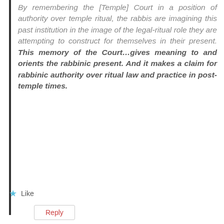By remembering the [Temple] Court in a position of authority over temple ritual, the rabbis are imagining this past institution in the image of the legal-ritual role they are attempting to construct for themselves in their present. This memory of the Court…gives meaning to and orients the rabbinic present. And it makes a claim for rabbinic authority over ritual law and practice in post-temple times.
Like
Reply